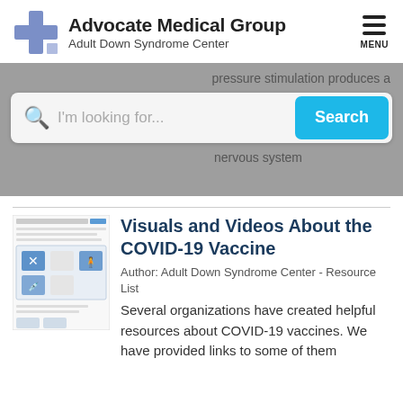[Figure (logo): Advocate Medical Group - Adult Down Syndrome Center logo with blue cross icon]
[Figure (screenshot): Website search interface with gray background, search bar reading 'I'm looking for...' and cyan Search button, with partial text 'pressure stimulation produces a' and 'nervous system']
[Figure (screenshot): Thumbnail of article page titled 'Visuals and Videos About the COVID-19 Vaccine' with small image of COVID vaccine visuals]
Visuals and Videos About the COVID-19 Vaccine
Author: Adult Down Syndrome Center - Resource List
Several organizations have created helpful resources about COVID-19 vaccines. We have provided links to some of them